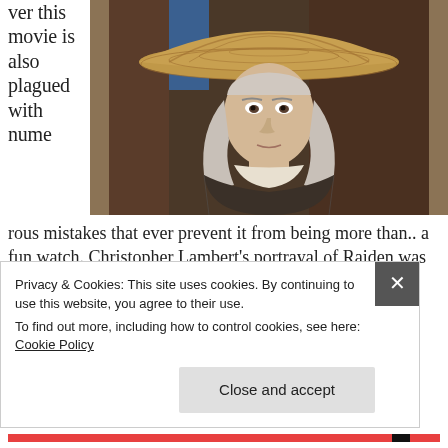ver this movie is also plagued with numerous mistakes that ever prevent it from being more than.. a fun watch. Christopher Lambert's portrayal of Raiden was one of my biggest gripes that took me out of the movie every time he shows up. He is just
[Figure (photo): Person wearing a large conical straw hat with long grey/white hair, in a dark textured costume, staring forward. Appears to be a still from the Mortal Kombat movie showing the character Raiden.]
Privacy & Cookies: This site uses cookies. By continuing to use this website, you agree to their use.
To find out more, including how to control cookies, see here: Cookie Policy
Close and accept